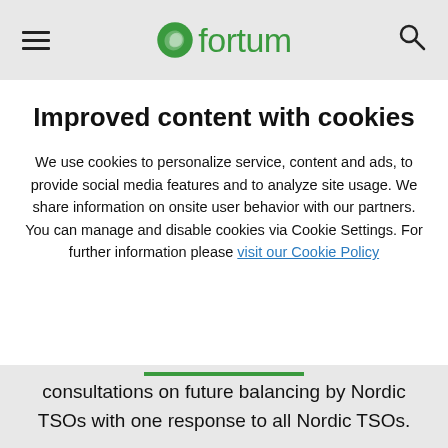Fortum logo header with hamburger menu and search icon
Improved content with cookies
We use cookies to personalize service, content and ads, to provide social media features and to analyze site usage. We share information on onsite user behavior with our partners. You can manage and disable cookies via Cookie Settings. For further information please visit our Cookie Policy
consultations on future balancing by Nordic TSOs with one response to all Nordic TSOs.